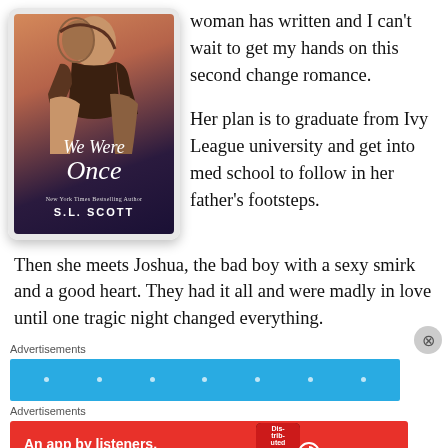[Figure (illustration): Book cover for 'We Were Once' by S.L. Scott showing a couple embracing, displayed as an e-reader/tablet screen]
woman has written and I can't wait to get my hands on this second change romance.
Her plan is to graduate from Ivy League university and get into med school to follow in her father's footsteps.
Then she meets Joshua, the bad boy with a sexy smirk and a good heart. They had it all and were madly in love until one tragic night changed everything.
Advertisements
[Figure (screenshot): Blue advertisement banner with dots]
Advertisements
[Figure (screenshot): Red Pocket Casts advertisement: An app by listeners, for listeners.]